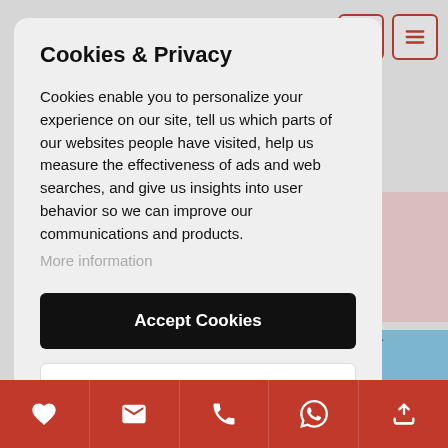Cookies & Privacy
Cookies enable you to personalize your experience on our site, tell us which parts of our websites people have visited, help us measure the effectiveness of ads and web searches, and give us insights into user behavior so we can improve our communications and products.
More information
Accept Cookies
Customise Cookies
[Figure (screenshot): Website screenshot showing a cookies and privacy modal dialog with Accept Cookies and Customise Cookies buttons, overlaying a real estate website with navigation icons, search bar, property photo, and red bottom navigation bar with icons for favourites, email, phone, WhatsApp, and top/upload.]